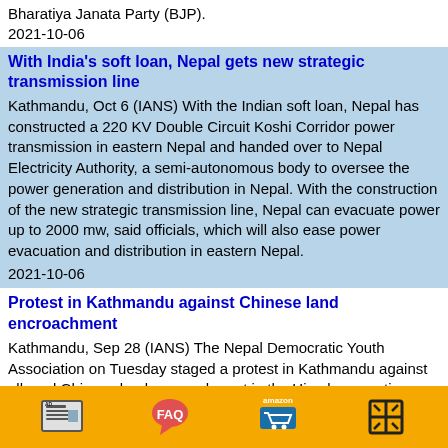Bharatiya Janata Party (BJP).
2021-10-06
With India's soft loan, Nepal gets new strategic transmission line
Kathmandu, Oct 6 (IANS) With the Indian soft loan, Nepal has constructed a 220 KV Double Circuit Koshi Corridor power transmission in eastern Nepal and handed over to Nepal Electricity Authority, a semi-autonomous body to oversee the power generation and distribution in Nepal. With the construction of the new strategic transmission line, Nepal can evacuate power up to 2000 mw, said officials, which will also ease power evacuation and distribution in eastern Nepal.
2021-10-06
Protest in Kathmandu against Chinese land encroachment
Kathmandu, Sep 28 (IANS) The Nepal Democratic Youth Association on Tuesday staged a protest in Kathmandu against alleged Chinese land encroachment in the Himalayan nation.
2021-09-28
Nepal resumes on-arrival visas for foreign tourists
Kathmandu, Sep 24 (IANS) Nepal has resumed the on-arrival
[Figure (infographic): Orange advertisement bar at bottom with four ad icons: AD (newspaper icon), FAQ (speech bubble), amazon (shopping cart), and a grid/projector icon]